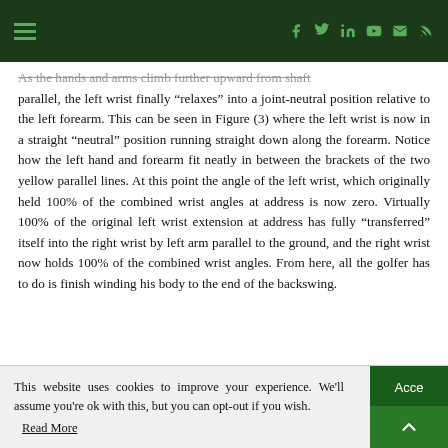Navigation header with hamburger menu and social icons (Facebook, Twitter, LinkedIn, YouTube, Email, RSS)
As the hands and arms climb further upward from shaft parallel, the left wrist finally “relaxes” into a joint-neutral position relative to the left forearm. This can be seen in Figure (3) where the left wrist is now in a straight “neutral” position running straight down along the forearm. Notice how the left hand and forearm fit neatly in between the brackets of the two yellow parallel lines. At this point the angle of the left wrist, which originally held 100% of the combined wrist angles at address is now zero. Virtually 100% of the original left wrist extension at address has fully “transferred” itself into the right wrist by left arm parallel to the ground, and the right wrist now holds 100% of the combined wrist angles. From here, all the golfer has to do is finish winding his body to the end of the backswing.
This website uses cookies to improve your experience. We'll assume you're ok with this, but you can opt-out if you wish. Accept Read More